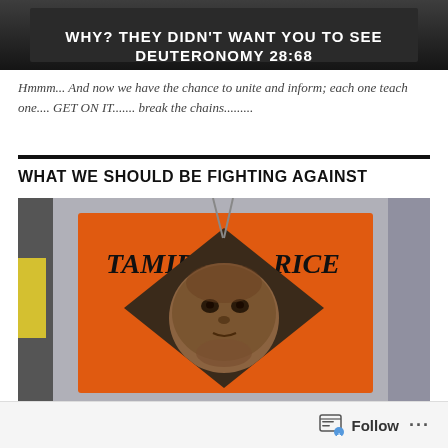[Figure (photo): Dark banner image with bold white text reading: WHY? THEY DIDN'T WANT YOU TO SEE DEUTERONOMY 28:68]
Hmmm... And now we have the chance to unite and inform; each one teach one.... GET ON IT....... break the chains.........
WHAT WE SHOULD BE FIGHTING AGAINST
[Figure (photo): Photo of a person in a gray hoodie holding an orange protest sign with a diamond-shaped photo inset of a child. The sign reads TAMIR RICE in black hand-lettered text.]
Follow ...